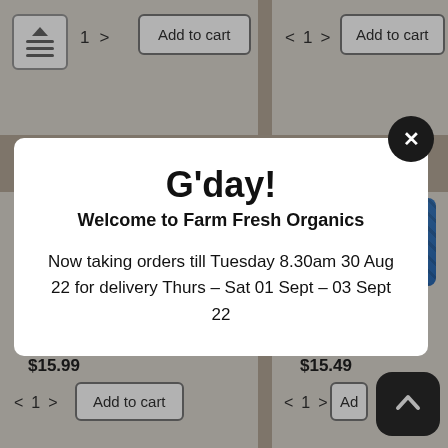[Figure (screenshot): E-commerce product listing page background showing product cards with Add to cart buttons, quantity selectors, product images, prices ($15.99, $15.49) and partially visible product names for miso paste items]
G'day!
Welcome to Farm Fresh Organics
Now taking orders till Tuesday 8.30am 30 Aug 22 for delivery Thurs – Sat 01 Sept – 03 Sept 22